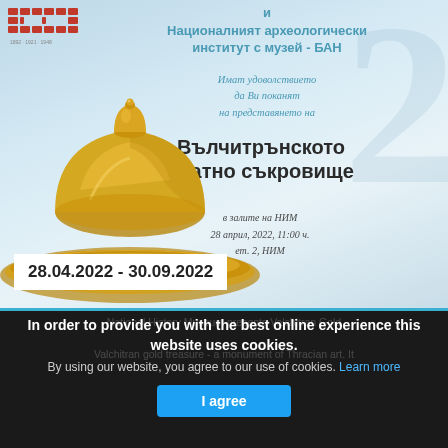[Figure (photo): Museum invitation poster with a gold artifact (domed lid/vessel) on a light blue-grey background, with Bulgarian institution text and event details. Decorative watermark numeral behind.]
Националният археологически институт с музей - БАН
Имат удоволствието да Ви поканят на представянето на
Вълчитрънското златно съкровище
в залите на НИМ
28 април, 2022, 11:00 ч.
ет. 2, НИМ
28.04.2022 - 30.09.2022
In order to provide you with the best online experience this website uses cookies.
By using our website, you agree to our use of cookies. Learn more
National History Museum presents Valchitran Gold
Valchitran gold treasure - a monument of Thracian art. It
I agree